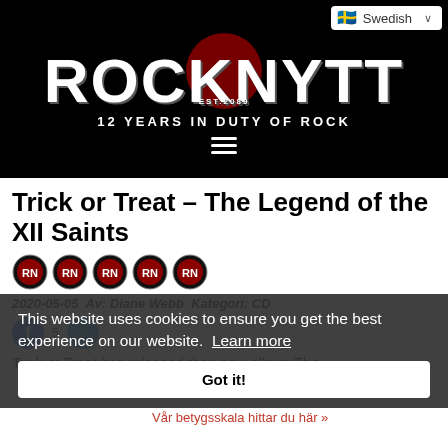[Figure (logo): ROCKNYTT logo with dark background, large white distressed text, red circle emblem, EST.2089 text, tagline '12 YEARS IN DUTY OF ROCK', hamburger menu icon, and Swedish language selector]
Trick or Treat – The Legend of the XII Saints
[Figure (other): Five RN (Rocknytt) circular rating badges in a row]
2020-05-05  Av: Diane Webb  Kategori: CD
This website uses cookies to ensure you get the best experience on our website. Learn more
Got it!
Vår betygsskala hittar du här »
Trick or Treat has released their new album The